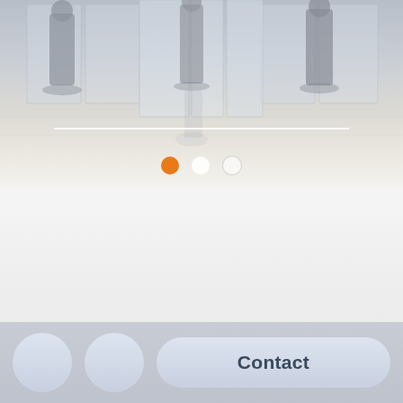[Figure (screenshot): Mobile app screenshot showing a lobby or atrium interior with glass panels and shiny floor, with three carousel navigation dots (orange, white filled, white outline) overlaid at bottom. The lower half shows a light gray content area with faint italic watermark text 'The Capitol Region's First' and a bottom navigation bar with two circular icon buttons and a Contact button.]